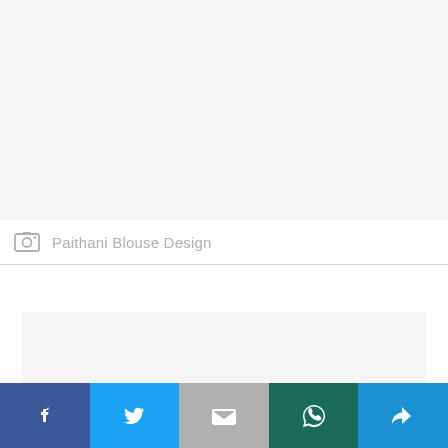[Figure (other): Large light grey placeholder area at the top of the page]
Paithani Blouse Design
[Figure (other): Smaller light grey content placeholder box]
[Figure (other): Social share bar with Facebook, Twitter, Gmail, WhatsApp, and More (arrow) buttons]